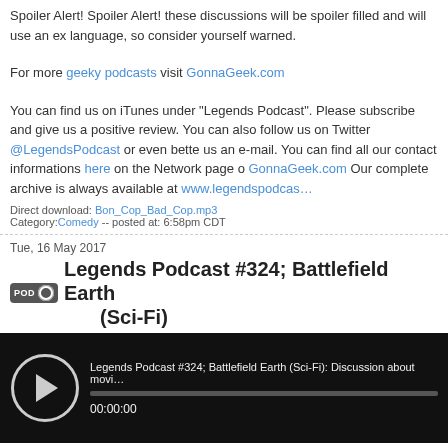Spoiler Alert! Spoiler Alert! these discussions will be spoiler filled and will use an ex language, so consider yourself warned.
For more geeky podcasts visit GonnaGeek.com
You can find us on iTunes under "Legends Podcast". Please subscribe and give us a positive review. You can also follow us on Twitter @LegendsPodcast or even better send us an e-mail. You can find all our contact informations here on the Network page of GonnaGeek.com Our complete archive is always available at www.legendspodcast...
Direct download: Bon_Cop_Bad_Cop.mp3
Category:Comedy -- posted at: 6:58pm CDT
Tue, 16 May 2017
Legends Podcast #324; Battlefield Earth (Sci-Fi)
[Figure (other): Audio player widget showing Legends Podcast #324; Battlefield Earth (Sci-Fi) with play button and progress bar at 00:00:00]
This episode takes us in a dystopian future like Beef likes them. In fact he asked to talk about Battlefield Earth. We discuss more or less everything of note… which is not a lot. I would warn about spoilers but who cares at this point?
This episode was recorded on May 9th 2017.